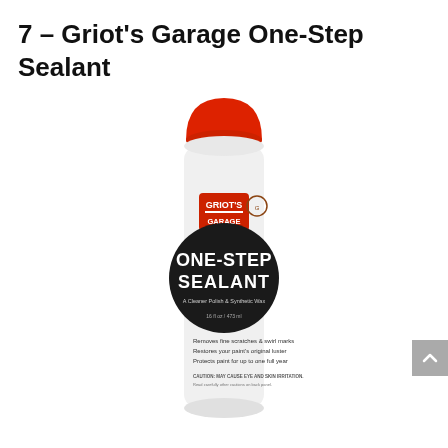7 – Griot's Garage One-Step Sealant
[Figure (photo): A white bottle of Griot's Garage One-Step Sealant product with a red dome cap. The bottle label features the Griot's Garage logo in a red square, and a black oval label reading 'ONE-STEP SEALANT' with subtitle text 'A Cleaner Polish & Synthetic Wax', volume '16 fl oz / 473 ml', and bullet points: 'Removes fine scratches & swirl marks', 'Restores your paint's original luster', 'Protects paint for up to one full year'. Caution text appears at bottom of label.]